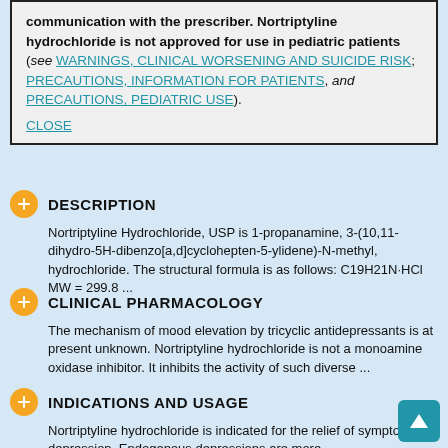communication with the prescriber. Nortriptyline hydrochloride is not approved for use in pediatric patients (see WARNINGS, CLINICAL WORSENING AND SUICIDE RISK; PRECAUTIONS, INFORMATION FOR PATIENTS, and PRECAUTIONS, PEDIATRIC USE).
CLOSE
DESCRIPTION
Nortriptyline Hydrochloride, USP is 1-propanamine, 3-(10,11-dihydro-5H-dibenzo[a,d]cyclohepten-5-ylidene)-N-methyl, hydrochloride. The structural formula is as follows: C19H21N·HCl MW = 299.8 ...
CLINICAL PHARMACOLOGY
The mechanism of mood elevation by tricyclic antidepressants is at present unknown. Nortriptyline hydrochloride is not a monoamine oxidase inhibitor. It inhibits the activity of such diverse ...
INDICATIONS AND USAGE
Nortriptyline hydrochloride is indicated for the relief of symptoms of depression. Endogenous depressions are more ...